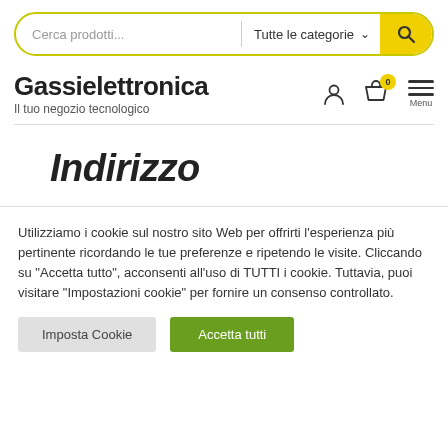[Figure (screenshot): Search bar with yellow border, placeholder 'Cerca prodotti...', category dropdown 'Tutte le categorie', and yellow search button with magnifying glass icon]
Gassielettronica — Il tuo negozio tecnologico
Indirizzo
Utilizziamo i cookie sul nostro sito Web per offrirti l'esperienza più pertinente ricordando le tue preferenze e ripetendo le visite. Cliccando su "Accetta tutto", acconsenti all'uso di TUTTI i cookie. Tuttavia, puoi visitare "Impostazioni cookie" per fornire un consenso controllato.
Imposta Cookie | Accetta tutti